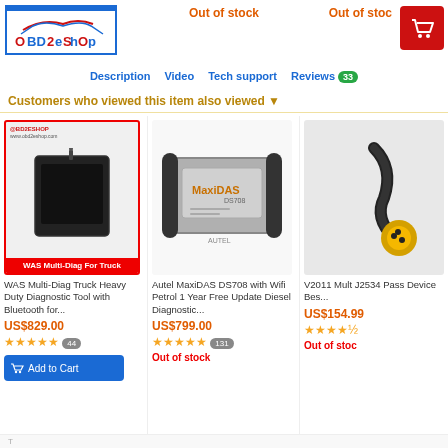[Figure (logo): OBD2eShop logo with car silhouette and blue border]
Out of stock
Out of stoc
[Figure (screenshot): Shopping cart icon on red background]
Description | Video | Tech support | Reviews 33
Customers who viewed this item also viewed ▼
[Figure (photo): WAS Multi-Diag For Truck diagnostic tool - black tablet device with antenna]
WAS Multi-Diag Truck Heavy Duty Diagnostic Tool with Bluetooth for...
US$829.00
★★★★★ 44
[Figure (photo): Autel MaxiDAS DS708 - grey handheld diagnostic device]
Autel MaxiDAS DS708 with Wifi Petrol 1 Year Free Update Diesel Diagnostic...
US$799.00
★★★★★ 131
Out of stock
[Figure (photo): V2011 Multi J2534 device partially visible]
V2011 Mult J2534 Pass Device Bes...
US$154.99
★★★★½
Out of stoc